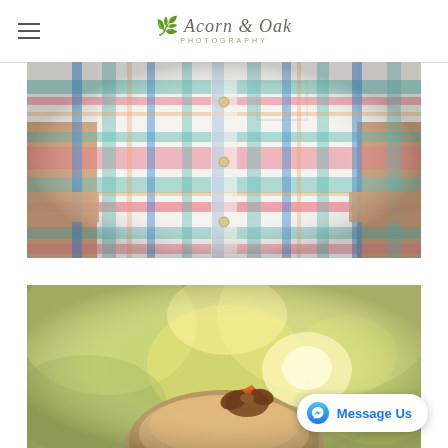Acorn & Oak Photography
[Figure (photo): Close-up photo of a child wearing a colorful plaid button-down shirt with rolled sleeves, in blue, pink, red, teal, and white colors.]
[Figure (photo): Close-up photo of a toddler girl from behind, showing her hair accessory with an orange bow/acorn decoration, with blurred green bokeh background.]